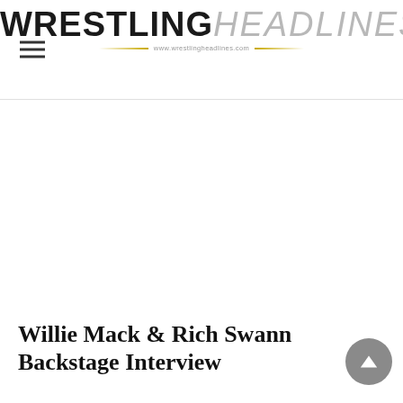WRESTLINGHEADLINES www.wrestlingheadlines.com
Willie Mack & Rich Swann Backstage Interview